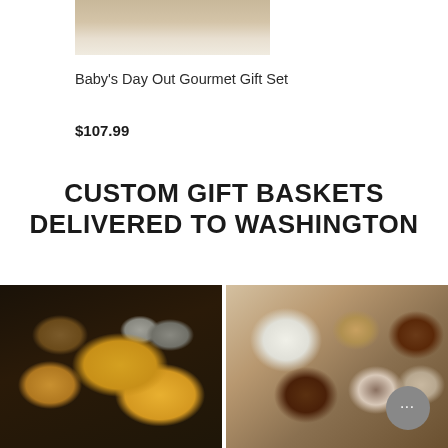[Figure (photo): Partial top view of Baby's Day Out Gourmet Gift Set product photo]
Baby's Day Out Gourmet Gift Set
$107.99
CUSTOM GIFT BASKETS DELIVERED TO WASHINGTON
[Figure (photo): Overhead shot of snack foods including chips, nuts, and beverages on a dark background]
[Figure (photo): Close-up of assorted chocolates and confections on a wooden background]